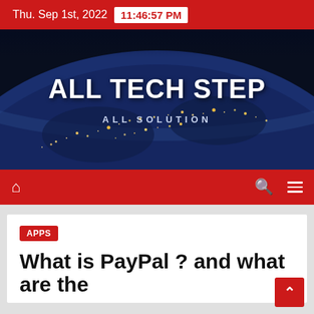Thu. Sep 1st, 2022  11:46:57 PM
[Figure (illustration): ALL TECH STEP website hero banner with dark blue earth-from-space background, large white bold text ALL TECH STEP, subtitle ALL SOLUTION in lighter spaced letters]
Navigation bar with home icon, search icon, and hamburger menu icon on red background
APPS
What is PayPal ? and what are the